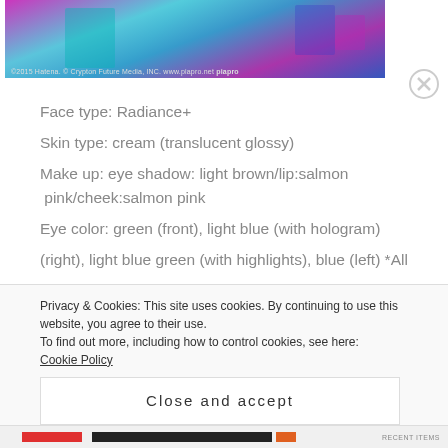[Figure (photo): Screenshot of an anime/virtual character with teal hair, pink and blue background with glowing squares. Copyright notice reads: © 2015 Hatena. © Crypton Future Media, INC. www.piapro.net piapro]
Face type: Radiance+
Skin type: cream (translucent glossy)
Make up: eye shadow: light brown/lip:salmon pink/cheek:salmon pink
Eye color: green (front), light blue (with hologram)(right), light blue green (with highlights), blue (left) *All
Privacy & Cookies: This site uses cookies. By continuing to use this website, you agree to their use.
To find out more, including how to control cookies, see here: Cookie Policy
Close and accept